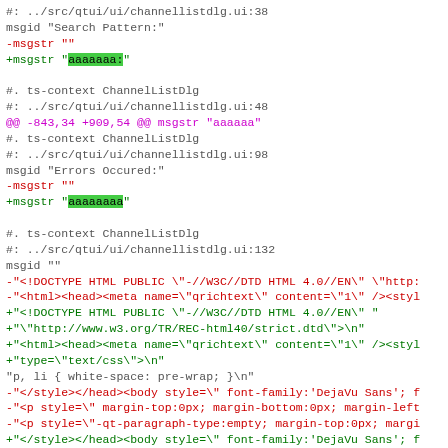Diff/patch code snippet showing changes to a PO translation file and HTML template strings for channellistdlg.ui